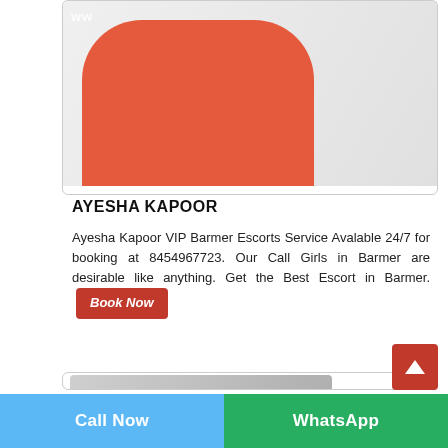[Figure (photo): Photo of a woman in a red dress/outfit lying/sitting on a white surface, with partial watermark text visible at top]
AYESHA KAPOOR
Ayesha Kapoor VIP Barmer Escorts Service Avalable 24/7 for booking at 8454967723. Our Call Girls in Barmer are desirable like anything. Get the Best Escort in Barmer. Book Now
[Figure (photo): Partial photo visible at the bottom of the page inside a card border]
Call Now   WhatsApp